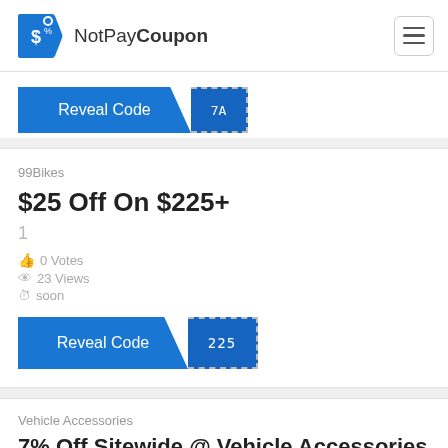NotPayCoupon
[Figure (screenshot): Partial coupon card showing Reveal Code button with partial code '7A']
99Bikes
$25 Off On $225+
1
0 Votes
23 Views
soon
[Figure (screenshot): Reveal Code button with code '225']
Vehicle Accessories
7% Off Sitewide @ Vehicle Accessories